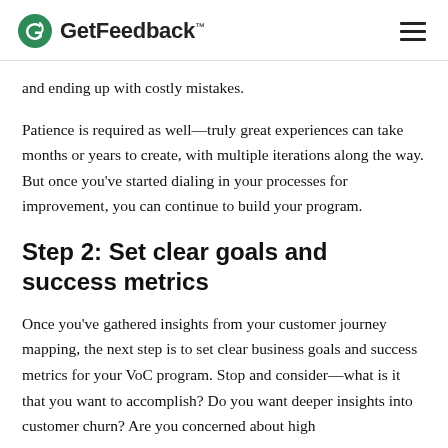GetFeedback™
and ending up with costly mistakes.
Patience is required as well—truly great experiences can take months or years to create, with multiple iterations along the way. But once you've started dialing in your processes for improvement, you can continue to build your program.
Step 2: Set clear goals and success metrics
Once you've gathered insights from your customer journey mapping, the next step is to set clear business goals and success metrics for your VoC program. Stop and consider—what is it that you want to accomplish? Do you want deeper insights into customer churn? Are you concerned about high